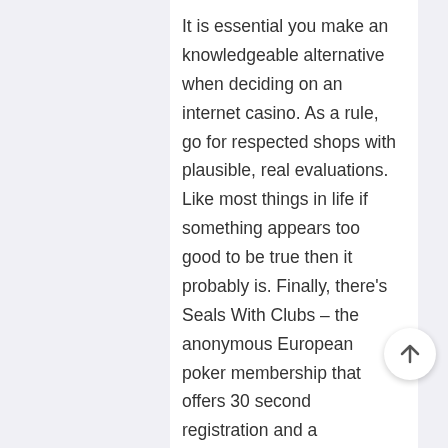It is essential you make an knowledgeable alternative when deciding on an internet casino. As a rule, go for respected shops with plausible, real evaluations. Like most things in life if something appears too good to be true then it probably is. Finally, there’s Seals With Clubs – the anonymous European poker membership that offers 30 second registration and a community of over 10,600 gamers. This little jewel of the gambling world has paid out a whopping a hundred and ten,587 BTC (£1,219,000) in sixteen months since its launch. Although it was based recently, it